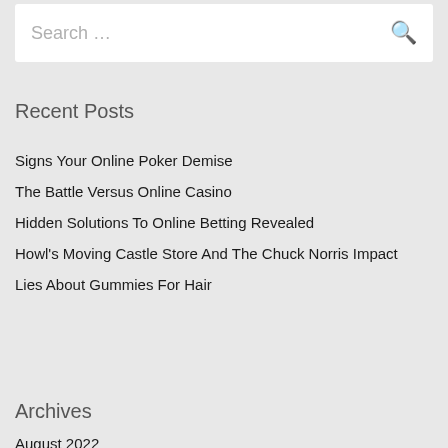Search …
Recent Posts
Signs Your Online Poker Demise
The Battle Versus Online Casino
Hidden Solutions To Online Betting Revealed
Howl's Moving Castle Store And The Chuck Norris Impact
Lies About Gummies For Hair
Archives
August 2022